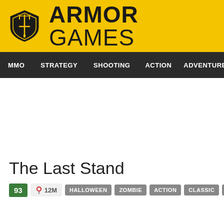ARMOR GAMES
MMO STRATEGY SHOOTING ACTION ADVENTURE P
The Last Stand
93 12M HALLOWEEN ZOMBIE ACTION CLASSIC FLASH